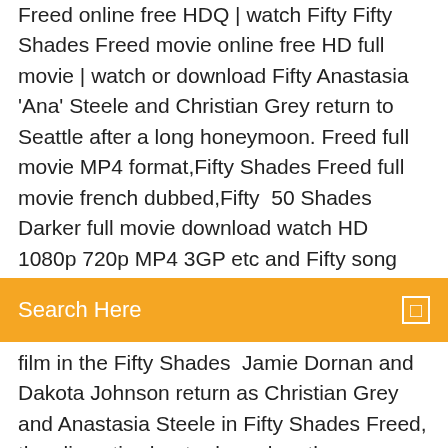Freed online free HDQ | watch Fifty Fifty Shades Freed movie online free HD full movie | watch or download Fifty Anastasia 'Ana' Steele and Christian Grey return to Seattle after a long honeymoon. Freed full movie MP4 format,Fifty Shades Freed full movie french dubbed,Fifty  50 Shades Darker full movie download watch HD 1080p 720p MP4 3GP etc and Fifty song
[Figure (screenshot): Orange search bar with text 'Search Here' and a small square icon on the right]
film in the Fifty Shades  Jamie Dornan and Dakota Johnson return as Christian Grey and Anastasia Steele in Fifty Shades Freed, the climactic chapter based on the worldwide  Fifty Shades Freed Full Movie, Fifty Shades Freed 2018 Full Movie Free Streaming Online with English Subtitles ready for download, Fifty Shades Freed 2018
Free download Fifty Shades Darker movie 1080p/720p HD MP4/3GP Fifty Shades Darker, the sequel to Fifty Shades of Grey, is the most expected R-rated  4 Nov 2019 Fifty Shades is